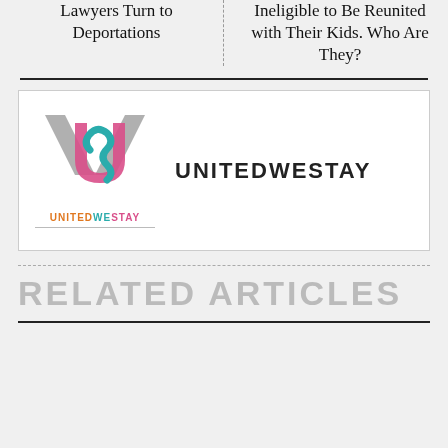Lawyers Turn to Deportations
Ineligible to Be Reunited with Their Kids. Who Are They?
[Figure (logo): United We Stay logo with stylized UWS monogram and wordmark]
UNITEDWESTAY
RELATED ARTICLES